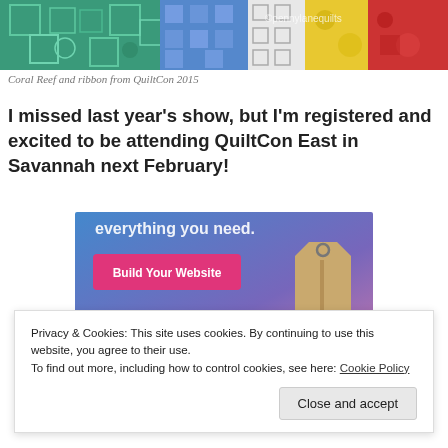[Figure (photo): Colorful quilts photo with watermark ©pennylanequilts]
Coral Reef and ribbon from QuiltCon 2015
I missed last year's show, but I'm registered and excited to be attending QuiltCon East in Savannah next February!
[Figure (screenshot): Advertisement banner showing 'Build Your Website' button with blue-purple gradient background and a tag graphic, text 'everything you need.']
Privacy & Cookies: This site uses cookies. By continuing to use this website, you agree to their use.
To find out more, including how to control cookies, see here: Cookie Policy
Close and accept